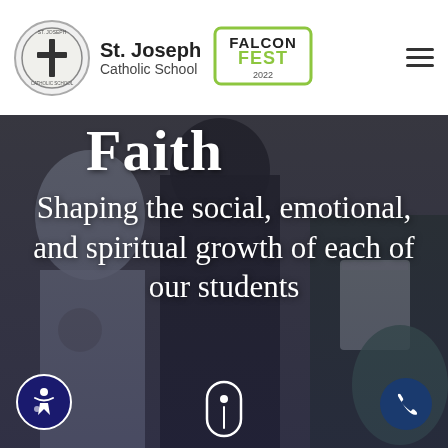St. Joseph Catholic School — Falcon Fest 2022
[Figure (photo): Background photo of students at school event, overlaid with dark gradient. Shows students in school uniforms holding cups.]
Faith
Shaping the social, emotional, and spiritual growth of each of our students